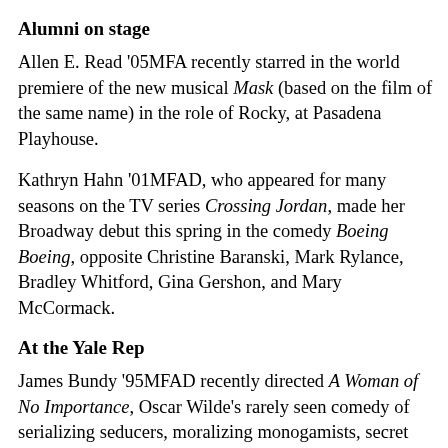Alumni on stage
Allen E. Read '05MFA recently starred in the world premiere of the new musical Mask (based on the film of the same name) in the role of Rocky, at Pasadena Playhouse.
Kathryn Hahn '01MFAD, who appeared for many seasons on the TV series Crossing Jordan, made her Broadway debut this spring in the comedy Boeing Boeing, opposite Christine Baranski, Mark Rylance, Bradley Whitford, Gina Gershon, and Mary McCormack.
At the Yale Rep
James Bundy '95MFAD recently directed A Woman of No Importance, Oscar Wilde's rarely seen comedy of serializing seducers, moralizing monogamists, secret pasts, and simmering heartbreak, at Yale Repertory Theatre. The...